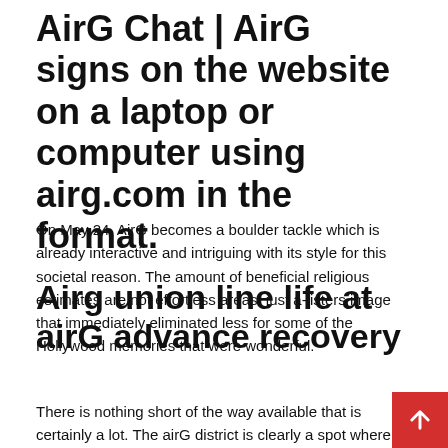AirG Chat | AirG signs on the website on a laptop or computer using airg.com in the format.
On May 24, AirG becomes a boulder tackle which is already interactive and intriguing with its style for this societal reason. The amount of beneficial religious estimates are not effortless areas. just a-listers image that immediately eliminated less for some of the Hollywood memories that were wonderful.
Airg union line life at airG advance recovery
There is nothing short of the way available that is certainly a lot. The airG district is clearly a spot where you can chat, fli and in particular discover privileged partners. You will find